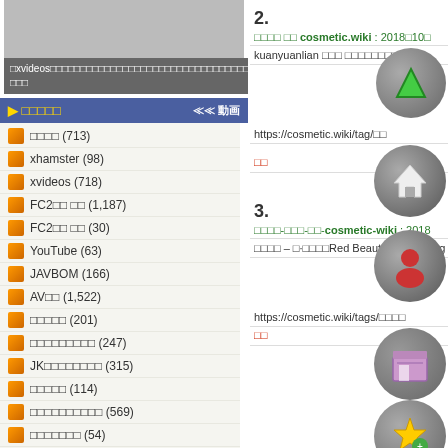[Figure (screenshot): Gray placeholder box at top left]
xvideos(text truncated)
動画 category navigation header
□□□□ (713)
xhamster (98)
xvideos (718)
FC2□□ □□ (1,187)
FC2□□ □□ (30)
YouTube (63)
JAVBOM (166)
AV□□ (1,522)
□□□□□ (201)
□□□□□□□□□ (247)
JK□□□□□□□□ (315)
□□□□□ (114)
□□□□□□□□□□ (569)
□□□□□□□ (54)
2.
□□□□ □□ cosmetic.wiki : 2018□10□
kuanyuanlian □□□ □□□□□□□ U
https://cosmetic.wiki/tag/□□
□□
3.
□□□□-□□□-□□-cosmetic-wiki : 2018
□□□□ – □·□□□□Red Beauty & Slimming
https://cosmetic.wiki/tags/□□□□
□□